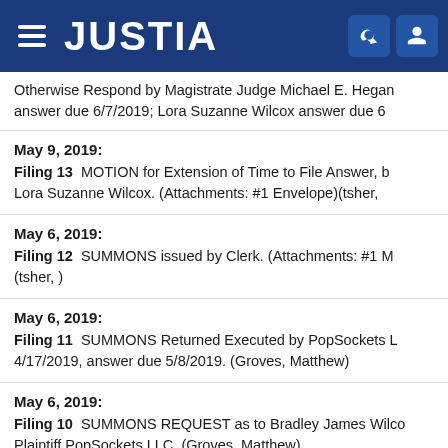JUSTIA
Otherwise Respond by Magistrate Judge Michael E. Hegan answer due 6/7/2019; Lora Suzanne Wilcox answer due 6
May 9, 2019: Filing 13 MOTION for Extension of Time to File Answer, b Lora Suzanne Wilcox. (Attachments: #1 Envelope)(tsher,
May 6, 2019: Filing 12 SUMMONS issued by Clerk. (Attachments: #1 M (tsher, )
May 6, 2019: Filing 11 SUMMONS Returned Executed by PopSockets L 4/17/2019, answer due 5/8/2019. (Groves, Matthew)
May 6, 2019: Filing 10 SUMMONS REQUEST as to Bradley James Wilco Plaintiff PopSockets LLC. (Groves, Matthew)